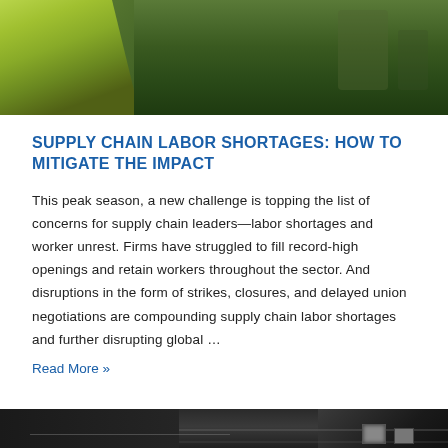[Figure (photo): Top portion of a photo showing a worker in a high-visibility green/yellow vest outdoors with green foliage background]
SUPPLY CHAIN LABOR SHORTAGES: HOW TO MITIGATE THE IMPACT
This peak season, a new challenge is topping the list of concerns for supply chain leaders—labor shortages and worker unrest. Firms have struggled to fill record-high openings and retain workers throughout the sector. And disruptions in the form of strikes, closures, and delayed union negotiations are compounding supply chain labor shortages and further disrupting global …
Read More »
[Figure (photo): Bottom portion of a photo showing an industrial warehouse interior with ceiling pipes, lighting fixtures, and metal structures]